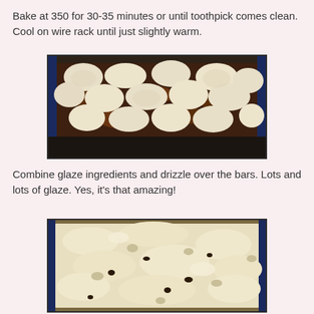Bake at 350 for 30-35 minutes or until toothpick comes clean. Cool on wire rack until just slightly warm.
[Figure (photo): Baked biscuit-topped dish in a blue glass baking pan, biscuits golden-white and lumpy arranged across a dark filling.]
Combine glaze ingredients and drizzle over the bars. Lots and lots of glaze. Yes, it's that amazing!
[Figure (photo): Close-up of glazed bars in a blue baking pan, covered with a thick white creamy glaze with visible chunks and raisins.]